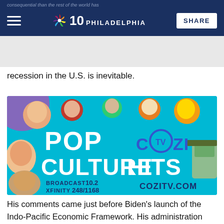NBC 10 PHILADELPHIA | SHARE
recession in the U.S. is inevitable.
[Figure (photo): Advertisement for POP TV / COZI TV showing Pop Culture Hits. Broadcast 10.2, Xfinity 248/1168, cozitv.com]
His comments came just before Biden's launch of the Indo-Pacific Economic Framework. His administration says the